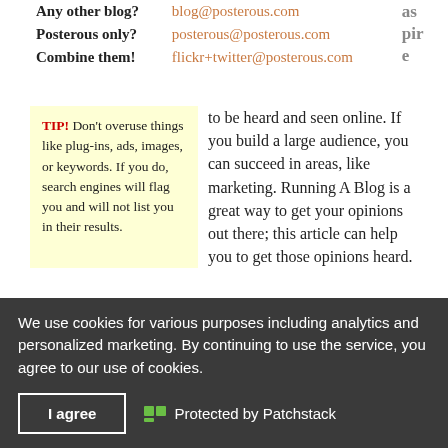|  |  |
| --- | --- |
| Any other blog? | blog@posterous.com |
| Posterous only? | posterous@posterous.com |
| Combine them! | flickr+twitter@posterous.com |
TIP! Don't overuse things like plug-ins, ads, images, or keywords. If you do, search engines will flag you and will not list you in their results.
to be heard and seen online. If you build a large audience, you can succeed in areas, like marketing. Running A Blog is a great way to get your opinions out there; this article can help you to get those opinions heard.
Strive to maintain a presence on your blog and be there...
TIP! Make your blog unique. Unique content is key to...
We use cookies for various purposes including analytics and personalized marketing. By continuing to use the service, you agree to our use of cookies.
I agree
Protected by Patchstack